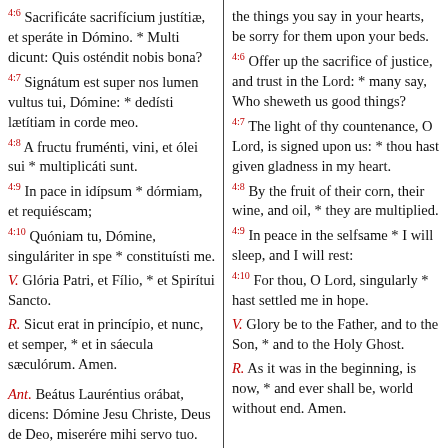4:6 Sacrificate sacrificium justitiae, et sperate in Domino. * Multi dicunt: Quis ostendit nobis bona?
4:7 Signatum est super nos lumen vultus tui, Domine: * dedisti laetitiam in corde meo.
4:8 A fructu frumenti, vini, et olei sui * multiplicati sunt.
4:9 In pace in idipsum * dormiam, et requiescam;
4:10 Quoniam tu, Domine, singulariter in spe * constituisti me.
V. Gloria Patri, et Filio, * et Spiritui Sancto.
R. Sicut erat in principio, et nunc, et semper, * et in saecula saeculorum. Amen.
Ant. Beatus Laurentius orabat, dicens: Domine Jesu Christe, Deus de Deo, miserere mihi servo tuo.
the things you say in your hearts, be sorry for them upon your beds.
4:6 Offer up the sacrifice of justice, and trust in the Lord: * many say, Who sheweth us good things?
4:7 The light of thy countenance, O Lord, is signed upon us: * thou hast given gladness in my heart.
4:8 By the fruit of their corn, their wine, and oil, * they are multiplied.
4:9 In peace in the selfsame * I will sleep, and I will rest:
4:10 For thou, O Lord, singularly * hast settled me in hope.
V. Glory be to the Father, and to the Son, * and to the Holy Ghost.
R. As it was in the beginning, is now, * and ever shall be, world without end. Amen.